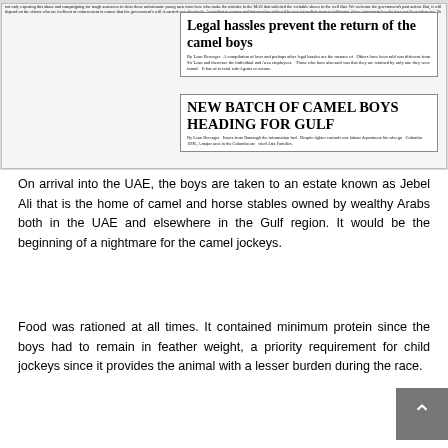[Figure (photo): Newspaper clippings showing headlines: 'Legal hassles prevent the return of the camel boys' and 'NEW BATCH OF CAMEL BOYS HEADING FOR GULF', with dense columnar newspaper text.]
On arrival into the UAE, the boys are taken to an estate known as Jebel Ali that is the home of camel and horse stables owned by wealthy Arabs both in the UAE and elsewhere in the Gulf region. It would be the beginning of a nightmare for the camel jockeys.
Food was rationed at all times. It contained minimum protein since the boys had to remain in feather weight, a priority requirement for child jockeys since it provides the animal with a lesser burden during the race.
The children were...